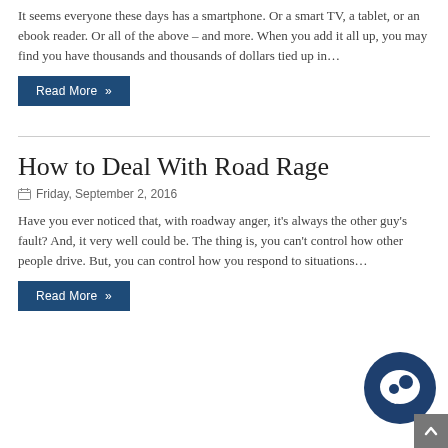It seems everyone these days has a smartphone. Or a smart TV, a tablet, or an ebook reader. Or all of the above – and more. When you add it all up, you may find you have thousands and thousands of dollars tied up in…
Read More »
How to Deal With Road Rage
Friday, September 2, 2016
Have you ever noticed that, with roadway anger, it's always the other guy's fault? And, it very well could be. The thing is, you can't control how other people drive. But, you can control how you respond to situations…
Read More »